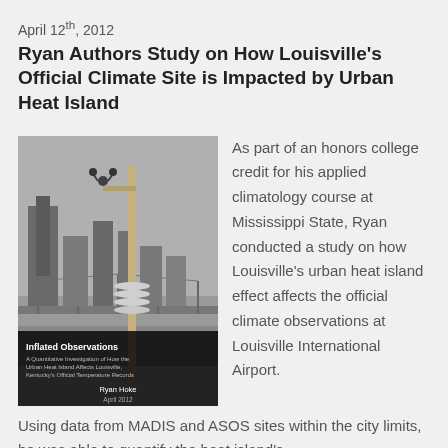April 12th, 2012
Ryan Authors Study on How Louisville's Official Climate Site is Impacted by Urban Heat Island
[Figure (photo): Black and white photo of Louisville skyline with a weather station instrument pole in the foreground, book cover for 'Inflated Observations: A Quantitative Investigation of How the Urban Heat Island Affects Louisville, Kentucky's Official Temperature Records' by Ryan Hoke, April 2012]
As part of an honors college credit for his applied climatology course at Mississippi State, Ryan conducted a study on how Louisville's urban heat island effect affects the official climate observations at Louisville International Airport. Using data from MADIS and ASOS sites within the city limits, he was able to quantify the heat island's...